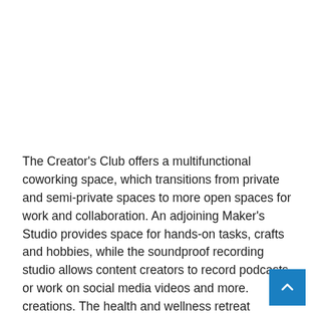The Creator's Club offers a multifunctional coworking space, which transitions from private and semi-private spaces to more open spaces for work and collaboration. An adjoining Maker's Studio provides space for hands-on tasks, crafts and hobbies, while the soundproof recording studio allows content creators to record podcasts or work on social media videos and more. creations. The health and wellness retreat includes a spa, hot gray stone jacuzzi and sauna, which complement a warm and lively fitness studio with the latest equipment, including a dedicated spin room.